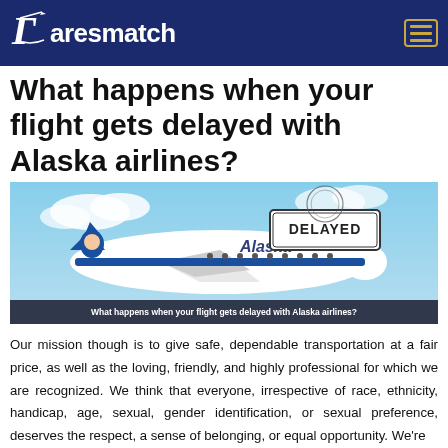Faresmatch
What happens when your flight gets delayed with Alaska airlines?
[Figure (photo): Alaska Airlines plane in flight with a 'DELAYED' stamp overlay and caption 'What happens when your flight gets delayed with Alaska airlines?']
Our mission though is to give safe, dependable transportation at a fair price, as well as the loving, friendly, and highly professional for which we are recognized. We think that everyone, irrespective of race, ethnicity, handicap, age, sexual, gender identification, or sexual preference, deserves the respect, a sense of belonging, or equal opportunity. We're